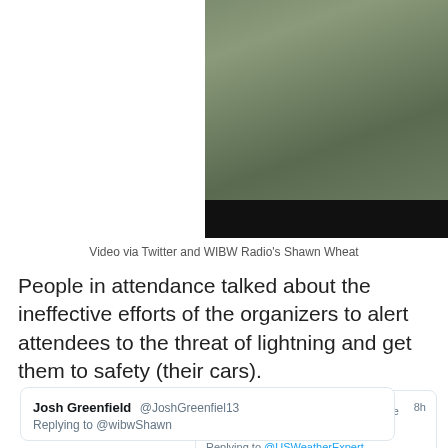[Figure (screenshot): Video still showing people on a field/grounds with a dark video control bar at the bottom, partially cropped]
Video via Twitter and WIBW Radio's Shawn Wheat
People in attendance talked about the ineffective efforts of the organizers to alert attendees to the threat of lightning and get them to safety (their cars).
[Figure (screenshot): Tweet from Dave Lewis @davelewislive replying to @USWeatherExpert: 'I was backstage with hundreds of people when lightning struck within 500 feet of me. That may be the strike in the pic. There were still thousands of people on the grounds. Embarrassingly mismanaged.' — 8h]
[Figure (screenshot): Tweet from Josh Greenfield @JoshGreenfiel13 replying to @wibwShawn (partial, cut off)]